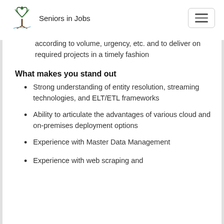Seniors in Jobs
according to volume, urgency, etc. and to deliver on required projects in a timely fashion
What makes you stand out
Strong understanding of entity resolution, streaming technologies, and ELT/ETL frameworks
Ability to articulate the advantages of various cloud and on-premises deployment options
Experience with Master Data Management
Experience with web scraping and